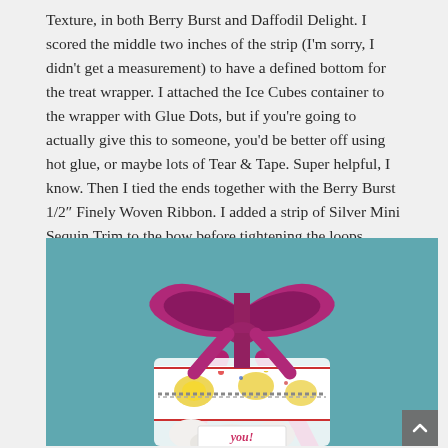Texture, in both Berry Burst and Daffodil Delight. I scored the middle two inches of the strip (I'm sorry, I didn't get a measurement) to have a defined bottom for the treat wrapper. I attached the Ice Cubes container to the wrapper with Glue Dots, but if you're going to actually give this to someone, you'd be better off using hot glue, or maybe lots of Tear & Tape. Super helpful, I know. Then I tied the ends together with the Berry Burst 1/2" Finely Woven Ribbon. I added a strip of Silver Mini Sequin Trim to the bow before tightening the loops.
[Figure (photo): A gift-wrapped Ice Cubes container with a large berry/magenta ribbon bow tied at the top, decorated with a daffodil-patterned white wrapper, Silver Mini Sequin Trim, and a small tag at the bottom. The background is teal/blue.]